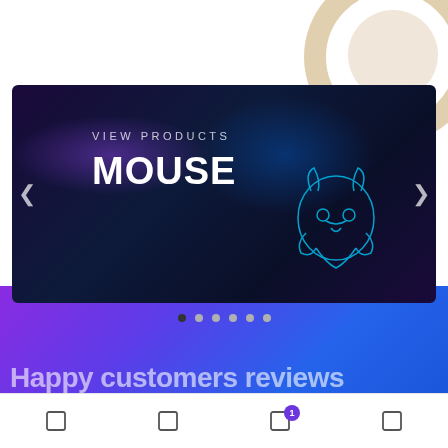[Figure (screenshot): A product slider/carousel banner showing a dark gaming-themed background with the text 'VIEW PRODUCTS' and 'MOUSE' in white, with a neon panther logo on the right. Left and right arrow navigation buttons. Six pagination dots below with the first dot active.]
[Figure (screenshot): Purple-to-blue gradient banner section with partially visible large white bold text reading 'Happy customers reviews' at the bottom.]
[Figure (screenshot): Bottom navigation bar with four icon buttons and a notification badge showing '1' on the third icon.]